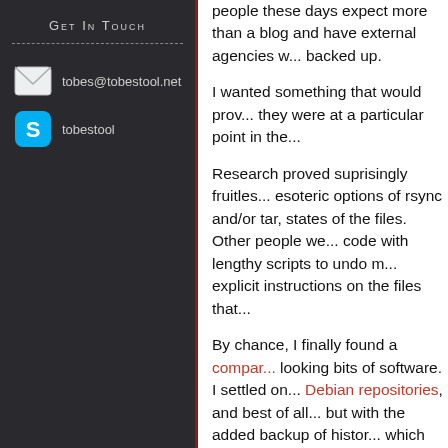Get In Touch
tobes@tobestool.net
tobestool
people these days expect more than a blog and have external agencies w... backed up.
I wanted something that would prov... they were at a particular point in the...
Research proved suprisingly fruitles... esoteric options of rsync and/or tar, states of the files. Other people we... code with lengthy scripts to undo m... explicit instructions on the files that...
By chance, I finally found a compar... looking bits of software. I settled on... Debian repositories, and best of all... but with the added backup of histor... which should get anyone interested... excersise to translate
rsync -avz --del user@webserve